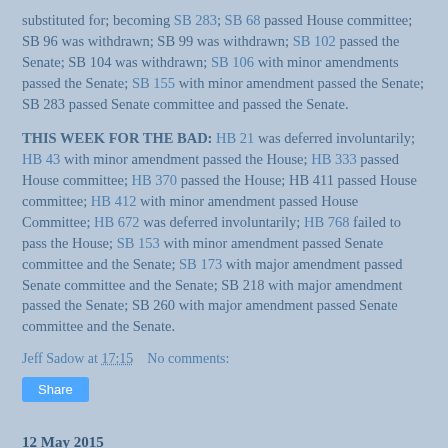substituted for; becoming SB 283; SB 68 passed House committee; SB 96 was withdrawn; SB 99 was withdrawn; SB 102 passed the Senate; SB 104 was withdrawn; SB 106 with minor amendments passed the Senate; SB 155 with minor amendment passed the Senate; SB 283 passed Senate committee and passed the Senate.
THIS WEEK FOR THE BAD: HB 21 was deferred involuntarily; HB 43 with minor amendment passed the House; HB 333 passed House committee; HB 370 passed the House; HB 411 passed House committee; HB 412 with minor amendment passed House Committee; HB 672 was deferred involuntarily; HB 768 failed to pass the House; SB 153 with minor amendment passed Senate committee and the Senate; SB 173 with major amendment passed Senate committee and the Senate; SB 218 with major amendment passed the Senate; SB 260 with major amendment passed Senate committee and the Senate.
Jeff Sadow at 17:15    No comments:
Share
12 May 2015